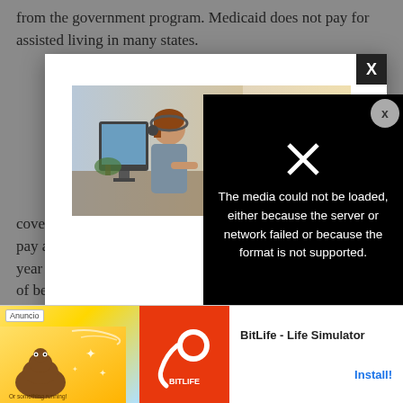from the government program. Medicaid does not pay for assisted living in many states.
[Figure (photo): Two call center workers wearing headsets working at computers in an office environment]
[Figure (screenshot): Black media error box with text: The media could not be loaded, either because the server or network failed or because the format is not supported.]
coverage can expect to pay a year ol of be
[Figure (infographic): Mobile advertisement banner: Anuncio label, BitLife - Life Simulator game ad with Install button]